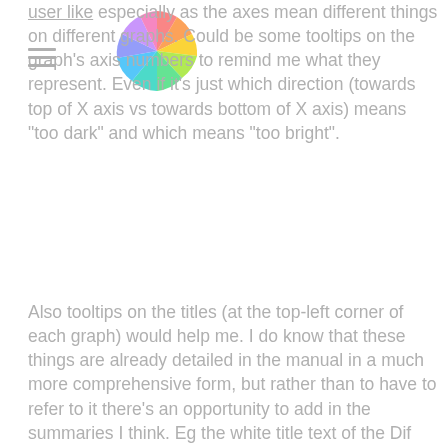user like especially as the axes mean different things on different graphs. Could be some tooltips on the graph's axis numbers to remind me what they represent. Even if it's just which direction (towards top of X axis vs towards bottom of X axis) means "too dark" and which means "too bright".
[Figure (logo): Colorful pinwheel/fan logo with multiple colored segments arranged in a circular pattern]
Also tooltips on the titles (at the top-left corner of each graph) would help me. I do know that these things are already detailed in the manual in a much more comprehensive form, but rather than to have to refer to it there's an opportunity to add in the summaries I think. Eg the white title text of the Dif EOTF graph could have a tooltip giving the summary eg "The Dif EOTF graph shows the difference in the measured EOFT from the target colour space EOTF, with the 0.0 graph line representing the selected target colour space EOTf, be that power law 2.4, BT1886, HLG, ST2084, etc.". That would help me remember that the Y axis units on that graph are 1/10th of a ???? and the negative values mean a point above the X axis, ie a red negative